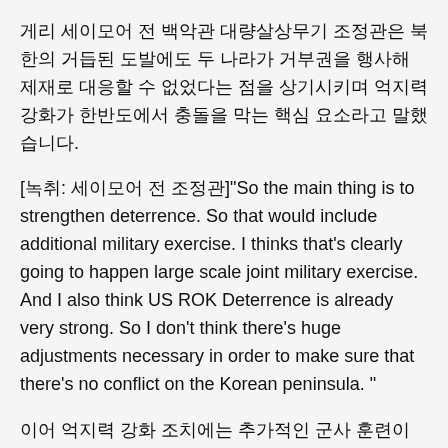게리 세이모어 전 백악관 대량살상무기 조정관은 북한의 거듭된 도발에도 두 나라가 거부권을 행사해 제재로 대응할 수 없었다는 점을 상기시키며 억지력 강화가 한반도에서 충돌을 막는 핵심 요소라고 말했습니다.
[녹취: 세이모어 전 조정관]"So the main thing is to strengthen deterrence. So that would include additional military exercise. I thinks that's clearly going to happen large scale joint military exercise. And I also think US ROK Deterrence is already very strong. So I don't think there's huge adjustments necessary in order to make sure that there's no conflict on the Korean peninsula. "
이어 억지력 강화 조치에는 추가적인 군사 훈련이 포함될 것이라며, 대규모 연합훈련이 분명히 재개될 것이라고 전망했습니다.